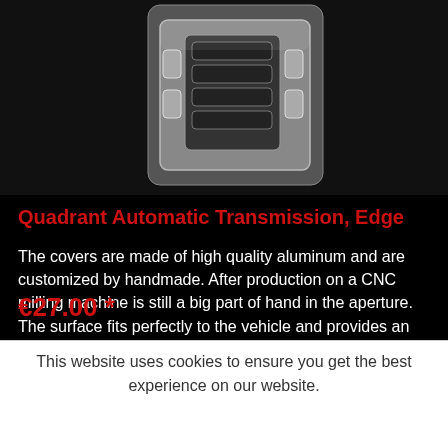[Figure (photo): Overhead view of a chrome/silver automatic transmission gear selector panel on a dark background]
Quadrant Automatic Transmission, Edge
The covers are made of high quality aluminum and are customized by handmade. After production on a CNC milling machine is still a big part of hand in the aperture. The surface fits perfectly to the vehicle and provides an
€27.00 *
This website uses cookies to ensure you get the best experience on our website.
Accept